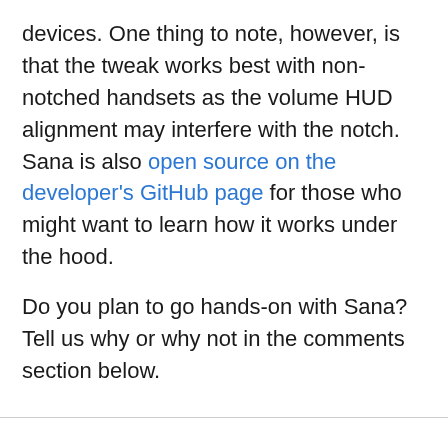devices. One thing to note, however, is that the tweak works best with non-notched handsets as the volume HUD alignment may interfere with the notch. Sana is also open source on the developer's GitHub page for those who might want to learn how it works under the hood.
Do you plan to go hands-on with Sana? Tell us why or why not in the comments section below.